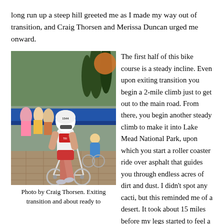long run up a steep hill greeted me as I made my way out of transition, and Craig Thorsen and Merissa Duncan urged me onward.
[Figure (photo): A female triathlete in a white helmet and tri kit pushing a bicycle through the transition area, with other competitors and trees visible in the background.]
Photo by Craig Thorsen. Exiting transition and about ready to
The first half of this bike course is a steady incline. Even upon exiting transition you begin a 2-mile climb just to get out to the main road. From there, you begin another steady climb to make it into Lake Mead National Park, upon which you start a roller coaster ride over asphalt that guides you through endless acres of dirt and dust. I didn't spot any cacti, but this reminded me of a desert. It took about 15 miles before my legs started to feel a rhythm. I strategically kept a steady 90rpm cadence to conserve my legs for the return trip toward Henderson. It felt like forever and a day to reach that turnaround point. I played a